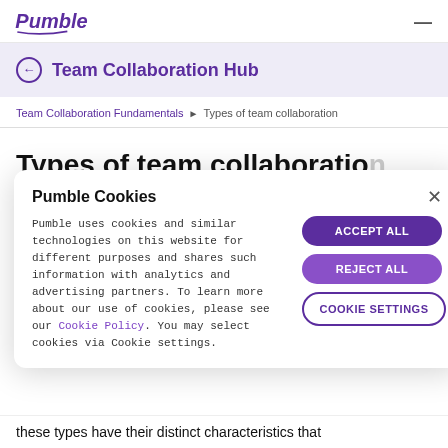Pumble [logo] — hamburger menu
Team Collaboration Hub
Team Collaboration Fundamentals ▶ Types of team collaboration
Types of team collaboration
Pumble Cookies
Pumble uses cookies and similar technologies on this website for different purposes and shares such information with analytics and advertising partners. To learn more about our use of cookies, please see our Cookie Policy. You may select cookies via Cookie settings.
ACCEPT ALL
REJECT ALL
COOKIE SETTINGS
these types have their distinct characteristics that